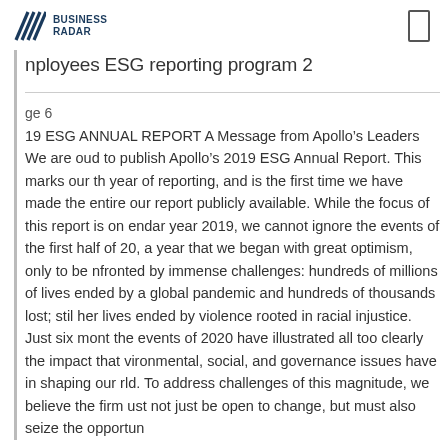BUSINESS RADAR
nployees ESG reporting program 2
ge 6
19 ESG ANNUAL REPORT A Message from Apollo’s Leaders We are proud to publish Apollo’s 2019 ESG Annual Report. This marks our th year of reporting, and is the first time we have made the entire our report publicly available. While the focus of this report is on endar year 2019, we cannot ignore the events of the first half of 20, a year that we began with great optimism, only to be nfronted by immense challenges: hundreds of millions of lives ended by a global pandemic and hundreds of thousands lost; stil her lives ended by violence rooted in racial injustice. Just six mont the events of 2020 have illustrated all too clearly the impact that vironmental, social, and governance issues have in shaping our rld. To address challenges of this magnitude, we believe the firm ust not just be open to change, but must also seize the opportun